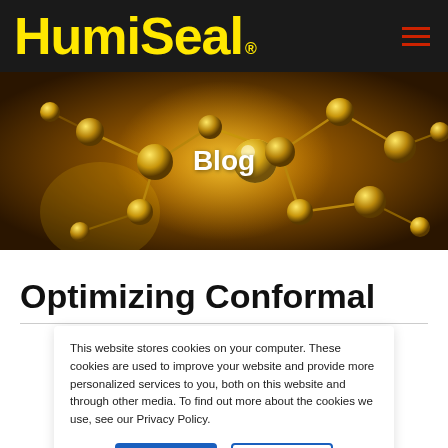HumiSeal®
[Figure (photo): Molecular structure visualization with golden glowing spheres and connecting rods on a warm amber background, with 'Blog' text overlay]
Optimizing Conformal
This website stores cookies on your computer. These cookies are used to improve your website and provide more personalized services to you, both on this website and through other media. To find out more about the cookies we use, see our Privacy Policy.
Accept | Decline